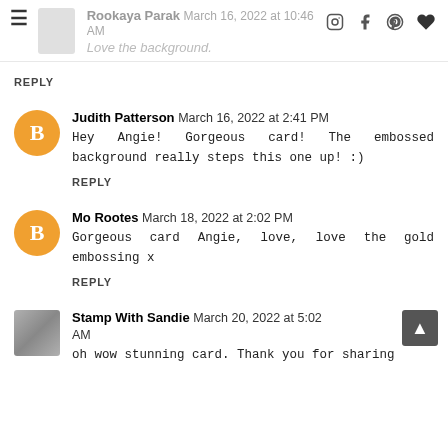Rookaya Parak March 16, 2022 at 10:46 AM Love the background.
REPLY
Judith Patterson March 16, 2022 at 2:41 PM
Hey Angie! Gorgeous card! The embossed background really steps this one up! :)
REPLY
Mo Rootes March 18, 2022 at 2:02 PM
Gorgeous card Angie, love, love the gold embossing x
REPLY
Stamp With Sandie March 20, 2022 at 5:02 AM
oh wow stunning card. Thank you for sharing